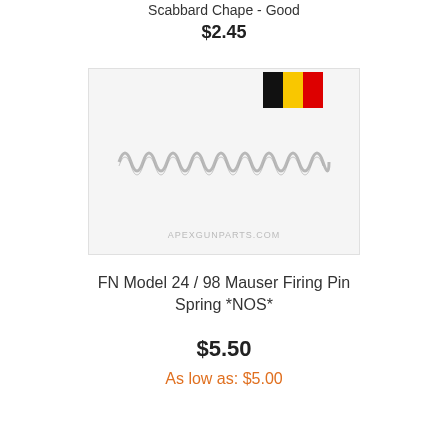Scabbard Chape - Good
$2.45
[Figure (photo): A coiled firing pin spring (metallic compression spring) on a light grey/white background, with a Belgian flag icon in the upper right corner and APEXGUNPARTS.COM watermark at the bottom.]
FN Model 24 / 98 Mauser Firing Pin Spring *NOS*
$5.50
As low as: $5.00